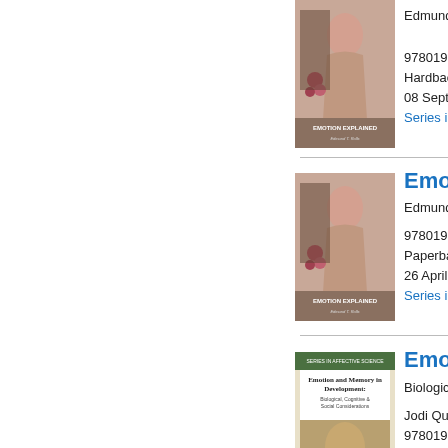[Figure (photo): Book cover for Emotion Explained by Edmund T. Rolls, hardback edition, showing a classical painting of a woman in pink robes]
Edmund T...
9780198...
Hardback
08 Septe...
Series in...
[Figure (photo): Book cover for Emotion Explained by Edmund T. Rolls, paperback edition, showing a classical painting of a woman in pink robes]
Emoti...
Edmund T...
9780198...
Paperback
26 April 2...
Series in...
[Figure (photo): Book cover for Emotion and Memory in Development: Biological, Cognitive and Social Considerations, green cover]
Emoti...
Biological...
Jodi Qua...
9780195...
Hardback